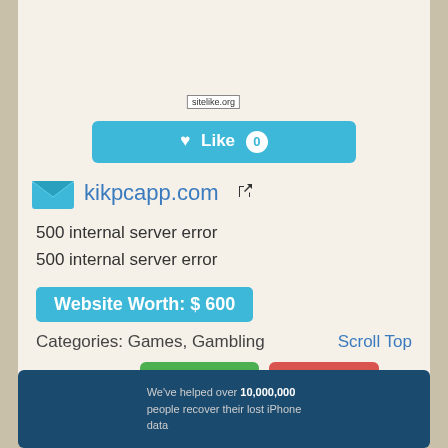[Figure (screenshot): Top portion of a website card for kikpcapp.com on sitelike.org. Shows an ad area with sitelike.org badge, a teal Like button with count 0, an envelope icon with the domain kikpcapp.com and external link icon, error text reading '500 internal server error' twice, a teal Website Worth: $600 badge, categories text 'Categories: Games, Gambling', a Scroll Top link, and Yes/No similar buttons with count 0 each.]
[Figure (screenshot): Bottom portion showing a dark navy blue advertisement panel with white/gray text: 'We've helped over 10,000,000 people recover their lost iPhone data']